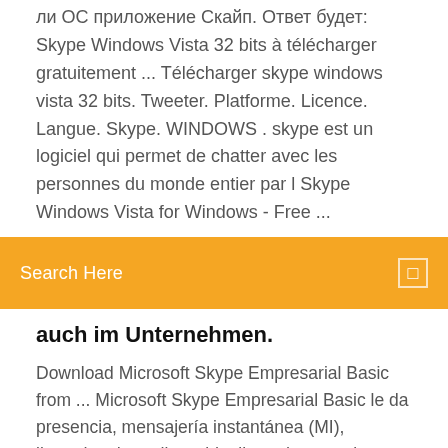ли ОС приложение Скайп. Ответ будет: Skype Windows Vista 32 bits à télécharger gratuitement ... Télécharger skype windows vista 32 bits. Tweeter. Platforme. Licence. Langue. Skype. WINDOWS . skype est un logiciel qui permet de chatter avec les personnes du monde entier par l Skype Windows Vista for Windows - Free ...
[Figure (other): Orange search bar with text 'Search Here' and a small icon on the right]
auch im Unternehmen.
Download Microsoft Skype Empresarial Basic from ... Microsoft Skype Empresarial Basic le da presencia, mensajería instantánea (MI), llamadas de audio y videollamadas, reuniones en línea y capacidades de uso compartido con la interfaz de usuario más reciente.Se trata de una descarga gratuita. Para obtener más información acerca de las características disponibles en Skype Empresarial Basic en comparación con el cliente de Skype Skype for Business Basic 32-bit version -